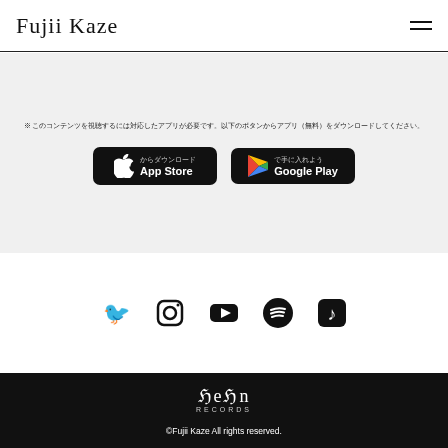Fujii Kaze
※ このコンテンツを視聴するには対応したアプリが必要です。以下のボタンからアプリ（無料）をダウンロードしてください。
[Figure (other): App Store download button and Google Play download button]
[Figure (other): Social media icons: Twitter, Instagram, YouTube, Spotify, Apple Music]
[Figure (logo): hehn RECORDS logo in white on black background]
©Fujii Kaze All rights reserved.